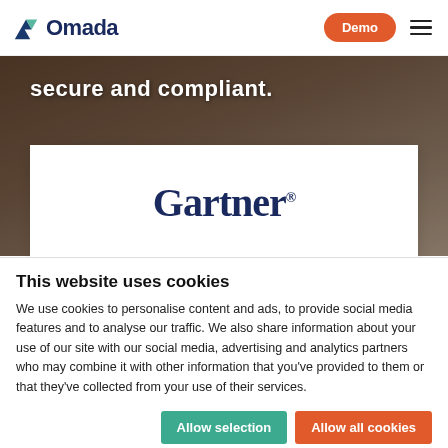Omada — Demo
[Figure (screenshot): Hero background image of a person working at a desk, with overlaid text 'secure and compliant.']
[Figure (logo): Gartner logo in dark navy serif font on a white card overlay]
This website uses cookies
We use cookies to personalise content and ads, to provide social media features and to analyse our traffic. We also share information about your use of our site with our social media, advertising and analytics partners who may combine it with other information that you've provided to them or that they've collected from your use of their services.
Allow selection | Allow all cookies
Necessary  Preferences  Statistics  Marketing  Show details